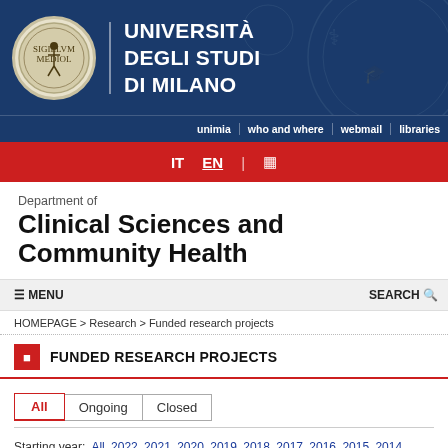[Figure (logo): Università degli Studi di Milano logo with circular seal and university name in white on dark blue banner]
unimia | who and where | webmail | libraries
IT  EN  |
Department of
Clinical Sciences and Community Health
☰ MENU    SEARCH
HOMEPAGE > Research > Funded research projects
FUNDED RESEARCH PROJECTS
All
Ongoing
Closed
Starting year:  All 2022 2021 2020 2019 2018 2017 2016 2015 2014 2013 2012 2011 2010 2009 2008